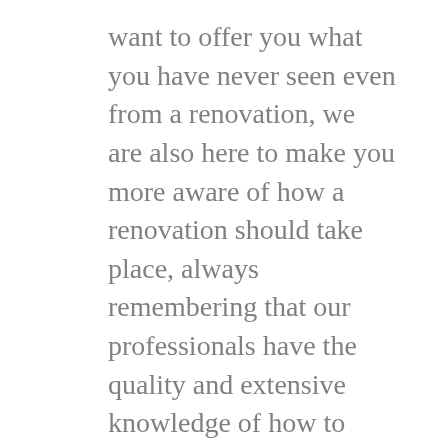want to offer you what you have never seen even from a renovation, we are also here to make you more aware of how a renovation should take place, always remembering that our professionals have the quality and extensive knowledge of how to make a reform be carried out.
Fence Replacement Amarillo want to inform that we are a company Do we care for you to say let’s go for our work, do not stay out today we have the best professionals you will find and from that moment on we will make sure that you and your family will have a qualitative